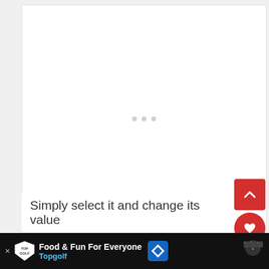[Figure (screenshot): White content card area with loading dots (three gray circles) centered, embedded in a webpage UI]
[Figure (screenshot): Scroll-to-top red square button with white chevron arrow pointing up]
[Figure (screenshot): Red circular like/heart button with white heart icon]
145
[Figure (screenshot): White circular share button with share icon]
Simply select it and change its value
[Figure (screenshot): Advertisement banner: Food & Fun For Everyone - Topgolf, with navigation icon and Waze-like logo on right]